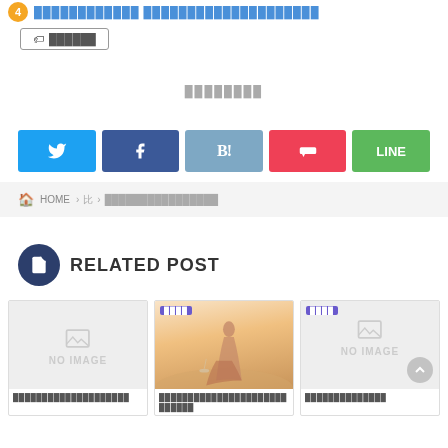4 ████████████ ████████████████████
█ ██████
████████
[Figure (infographic): Social share buttons: Twitter (blue), Facebook (dark blue), Hatena Bookmark (steel blue B!), Pocket (red), LINE (green)]
🏠 HOME › 比 › ████████████████
RELATED POST
[Figure (photo): Three related post cards: first NO IMAGE placeholder, second photo of woman on beach with purple tag, third NO IMAGE placeholder with purple tag. Below each is Japanese text.]
████████████████ ████████████████████████████ ██████████████